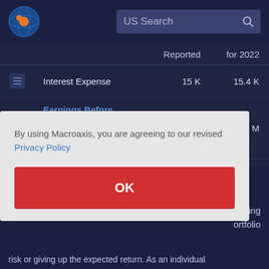[Figure (screenshot): Macroaxis website header with logo and US Search search bar]
|  |  | Reported | for 2022 |
| --- | --- | --- | --- |
| [icon] | Interest Expense | 15 K | 15.4 K |
| [icon] | Earnings Before Interest Taxes and Depreciation Amortization EBITDA | 18 M | 19.5 M |
By using Macroaxis, you are agreeing to our revised Privacy Policy
OK
ntering portfolio risk or giving up the expected return. As an individual